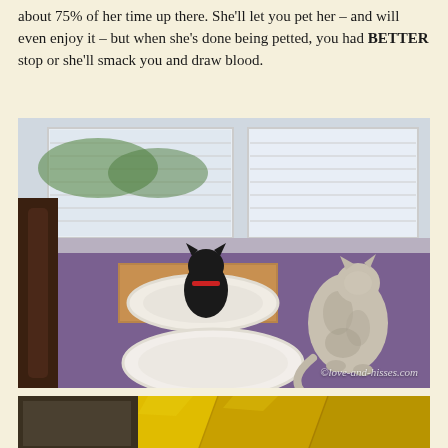about 75% of her time up there. She'll let you pet her – and will even enjoy it – but when she's done being petted, you had BETTER stop or she'll smack you and draw blood.
[Figure (photo): Two cats on a purple bed with white round cat beds. A black cat sits in a white oval pet bed on a wooden surface near the window, and a tabby/spotted cat sits beside a white oval pet bed on the purple bed. A window with blinds is visible in the background. Watermark: ©love-and-hisses.com]
[Figure (photo): Partial view of golden/yellow wrapped or foil-covered boxes or packages at the bottom of the page.]